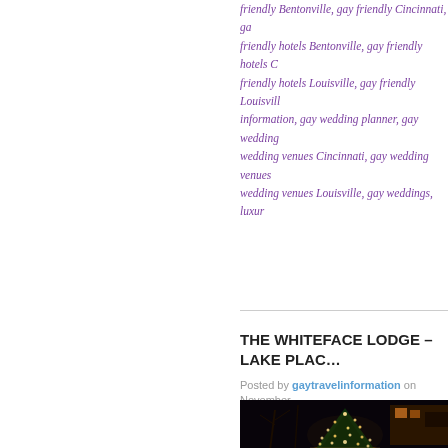friendly Bentonville, gay friendly Cincinnati, gay friendly hotels Bentonville, gay friendly hotels C... friendly hotels Louisville, gay friendly Louisville... information, gay wedding planner, gay wedding... wedding venues Cincinnati, gay wedding venues... wedding venues Louisville, gay weddings, luxury...
THE WHITEFACE LODGE – LAKE PLAC...
Posted by gaytravelinformation on November...
[Figure (photo): Night photo of a large illuminated Christmas tree in front of a lodge building. The tree is decorated with warm white lights, bare trees are visible in the background, and a building with lit windows is visible to the right.]